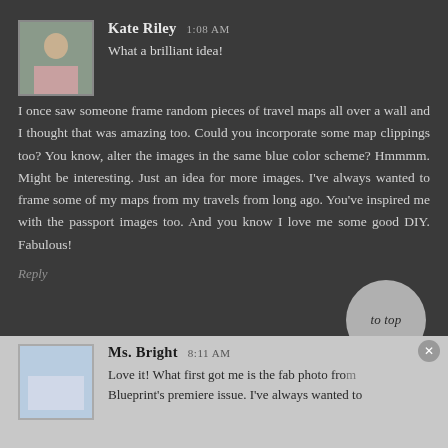Kate Riley  1:08 AM
What a brilliant idea!
I once saw someone frame random pieces of travel maps all over a wall and I thought that was amazing too. Could you incorporate some map clippings too? You know, alter the images in the same blue color scheme? Hmmmm. Might be interesting. Just an idea for more images. I've always wanted to frame some of my maps from my travels from long ago. You've inspired me with the passport images too. And you know I love me some good DIY. Fabulous!
Reply
Ms. Bright  8:11 AM
Love it! What first got me is the fab photo fro... Blueprint's premiere issue. I've always wanted to...